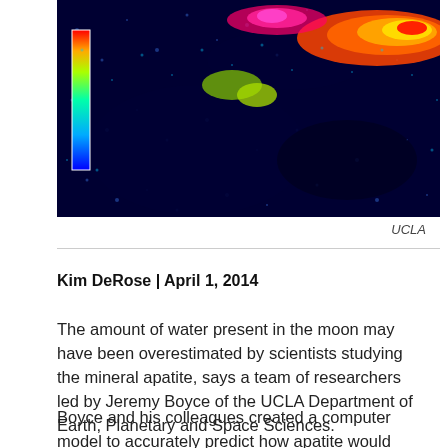[Figure (photo): False-color thermal or elemental map image of a lunar rock sample, showing heat map colors (blue, green, yellow, red/orange) on a dark background, with a color scale bar on the left side.]
UCLA
Kim DeRose | April 1, 2014
The amount of water present in the moon may have been overestimated by scientists studying the mineral apatite, says a team of researchers led by Jeremy Boyce of the UCLA Department of Earth, Planetary and Space Sciences.
Boyce and his colleagues created a computer model to accurately predict how apatite would have crystallized from cooling bodies of lunar magma early in the moon's